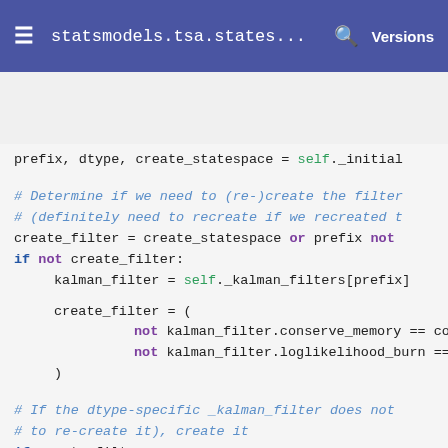statsmodels.tsa.states...   Versions
[Figure (screenshot): Python source code showing a method body with Kalman filter creation logic. Code includes comments, keyword highlights (if, not, in, del), and references to self._kalman_filters, create_filter, create_statespace, prefix, kalman_filter.conserve_memory, kalman_filter.loglikelihood_burn, self._kalman_filters[prefix], self.prefix_kalman_filter_map[prefix].]